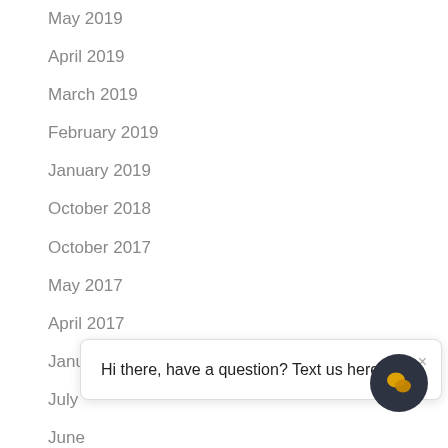May 2019
April 2019
March 2019
February 2019
January 2019
October 2018
October 2017
May 2017
April 2017
January 2017
July [2016]
June [2016]
April [2016]
Hi there, have a question? Text us here.